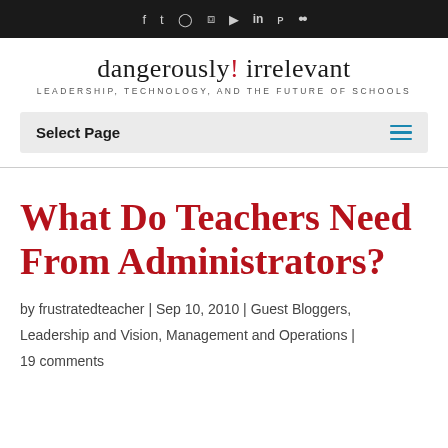f  y  (instagram)  (rss)  (youtube)  in  p  ••
dangerously! irrelevant
LEADERSHIP, TECHNOLOGY, AND THE FUTURE OF SCHOOLS
Select Page
What Do Teachers Need From Administrators?
by frustratedteacher | Sep 10, 2010 | Guest Bloggers, Leadership and Vision, Management and Operations | 19 comments